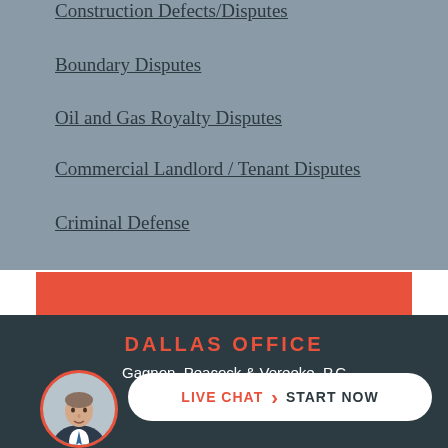Construction Defects/Disputes
Boundary Disputes
Oil and Gas Royalty Disputes
Commercial Landlord / Tenant Disputes
Criminal Defense
TESTIMONIALS
DALLAS OFFICE
Gagnon, Peacock & Vereeke, P.C.
[Figure (photo): Circular avatar photo of a man in a suit and tie]
LIVE CHAT › START NOW